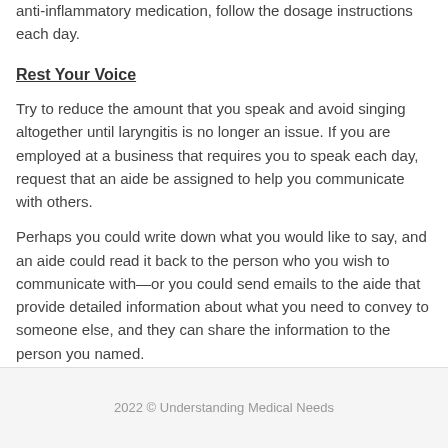anti-inflammatory medication, follow the dosage instructions each day.
Rest Your Voice
Try to reduce the amount that you speak and avoid singing altogether until laryngitis is no longer an issue. If you are employed at a business that requires you to speak each day, request that an aide be assigned to help you communicate with others.
Perhaps you could write down what you would like to say, and an aide could read it back to the person who you wish to communicate with—or you could send emails to the aide that provide detailed information about what you need to convey to someone else, and they can share the information to the person you named.
Share
[Figure (infographic): Social media share icons: Facebook (blue), Twitter (light blue), Google+ (red), LinkedIn (blue)]
2022 © Understanding Medical Needs